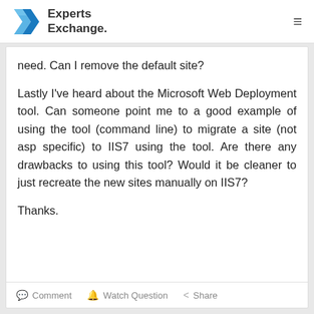Experts Exchange
need. Can I remove the default site?
Lastly I've heard about the Microsoft Web Deployment tool. Can someone point me to a good example of using the tool (command line) to migrate a site (not asp specific) to IIS7 using the tool. Are there any drawbacks to using this tool? Would it be cleaner to just recreate the new sites manually on IIS7?
Thanks.
Comment   Watch Question   Share